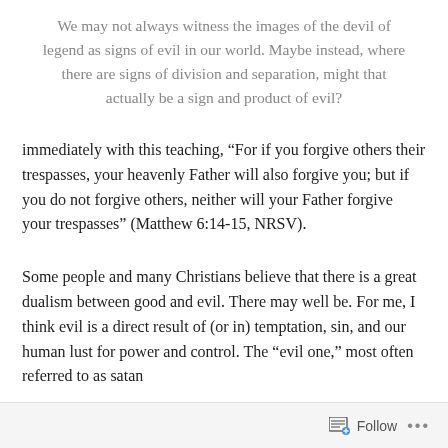We may not always witness the images of the devil of legend as signs of evil in our world. Maybe instead, where there are signs of division and separation, might that actually be a sign and product of evil?
immediately with this teaching, “For if you forgive others their trespasses, your heavenly Father will also forgive you; but if you do not forgive others, neither will your Father forgive your trespasses” (Matthew 6:14-15, NRSV).
Some people and many Christians believe that there is a great dualism between good and evil. There may well be. For me, I think evil is a direct result of (or in) temptation, sin, and our human lust for power and control. The “evil one,” most often referred to as satan
Follow ...